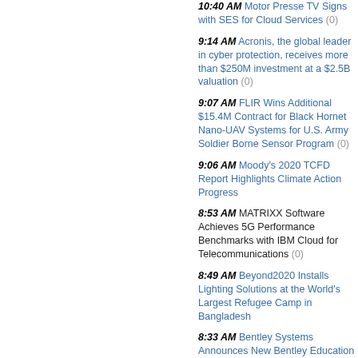10:40 AM Motor Presse TV Signs with SES for Cloud Services (0)
9:14 AM Acronis, the global leader in cyber protection, receives more than $250M investment at a $2.5B valuation (0)
9:07 AM FLIR Wins Additional $15.4M Contract for Black Hornet Nano-UAV Systems for U.S. Army Soldier Borne Sensor Program (0)
9:06 AM Moody's 2020 TCFD Report Highlights Climate Action Progress
8:53 AM MATRIXX Software Achieves 5G Performance Benchmarks with IBM Cloud for Telecommunications (0)
8:49 AM Beyond2020 Installs Lighting Solutions at the World's Largest Refugee Camp in Bangladesh
8:33 AM Bentley Systems Announces New Bentley Education Program, Putting Students on the Path to Infrastructure Careers (0)
04 May, Tuesday
10:44 AM Abu Dhabi's Technology Innovation Institute Unveils the Arab World's First Electromagnetic Compatibility Labs (0)
9:52 AM Study Investigates the Ability of Masimo PVi® to Predict Preload Responsiveness in Patients On Nasal High-Flow Therapy (0)
9:30 AM As Cyber Attacks Rise, Thales Chooses OVHcloud for Made in France Hosting of Citadel Team Encrypted Messaging Data (0)
8:41 AM Thales Selected by Lockheed Martin to Deliver Airborne Anti-submarine Warfare Sonar